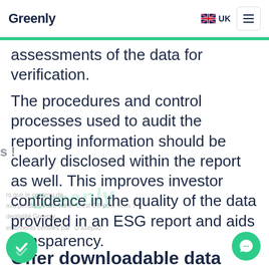Greenly | UK
assessments of the data for verification.
The procedures and control processes used to audit the reporting information should be clearly disclosed within the report as well. This improves investor confidence in the quality of the data provided in an ESG report and aids transparency.
Offer downloadable data